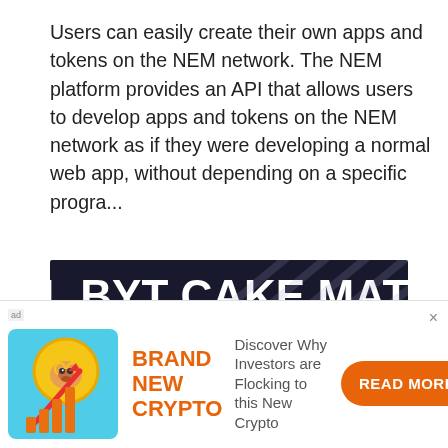Users can easily create their own apps and tokens on the NEM network. The NEM platform provides an API that allows users to develop apps and tokens on the NEM network as if they were developing a normal web app, without depending on a specific progra...
[Figure (illustration): Dark background image with cryptocurrency ticker symbols in large white bold text arranged in rows: L BYT CAKE MATIC [cropped], ASH SHIB ZEN SUSH[cropped], HETA XRP NEO DOGE[cropped], EM ICP BNB DCR AM[cropped], OS BAT XMR UNI DA[cropped]]
[Figure (infographic): Advertisement banner showing a Shiba Inu dog coin with an upward arrow chart graphic. Text reads BRAND NEW CRYPTO. Description: Discover Why Investors are Flocking to this New Crypto. Button: READ MORE]